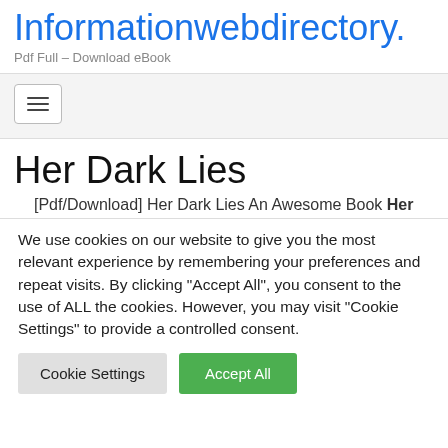Informationwebdirectory.
Pdf Full – Download eBook
[Figure (other): Navigation bar with hamburger menu button (three horizontal lines icon)]
Her Dark Lies
[Pdf/Download] Her Dark Lies An Awesome Book Her
We use cookies on our website to give you the most relevant experience by remembering your preferences and repeat visits. By clicking "Accept All", you consent to the use of ALL the cookies. However, you may visit "Cookie Settings" to provide a controlled consent.
Cookie Settings  Accept All